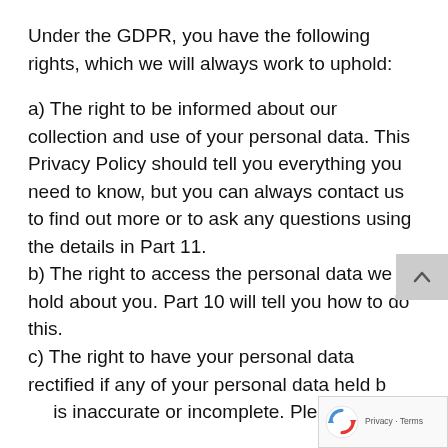Under the GDPR, you have the following rights, which we will always work to uphold:
a) The right to be informed about our collection and use of your personal data. This Privacy Policy should tell you everything you need to know, but you can always contact us to find out more or to ask any questions using the details in Part 11.
b) The right to access the personal data we hold about you. Part 10 will tell you how to do this.
c) The right to have your personal data rectified if any of your personal data held by us is inaccurate or incomplete. Please contact us